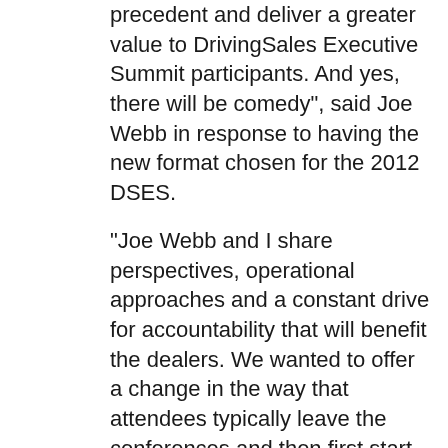precedent and deliver a greater value to DrivingSales Executive Summit participants. And yes, there will be comedy", said Joe Webb in response to having the new format chosen for the 2012 DSES.
"Joe Webb and I share perspectives, operational approaches and a constant drive for accountability that will benefit the dealers. We wanted to offer a change in the way that attendees typically leave the conferences and then first start to formulate their plan(s) by having the foundation for execution happen at the event. We're excited to move the needle for those that are ready at DSES", stated Gary May upon selection by the conference's dealer advisory board.
For dealers not yet registered for the leaing digital automotive conference, the can visit http://www.dses.com and use discount code